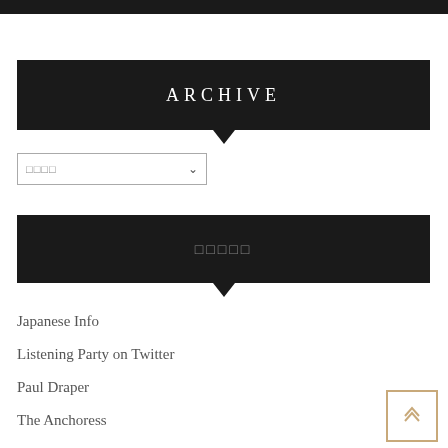ARCHIVE
[Figure (other): Dropdown selector with Japanese text placeholder and chevron arrow]
□□□□□ (Japanese characters)
Japanese Info
Listening Party on Twitter
Paul Draper
The Anchoress
TOUR, EVENT